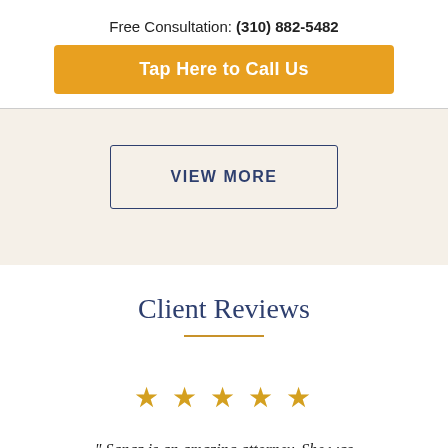Free Consultation: (310) 882-5482
Tap Here to Call Us
VIEW MORE
Client Reviews
[Figure (other): Five gold star rating icons]
" Sanaz is an amazing attorney. She was